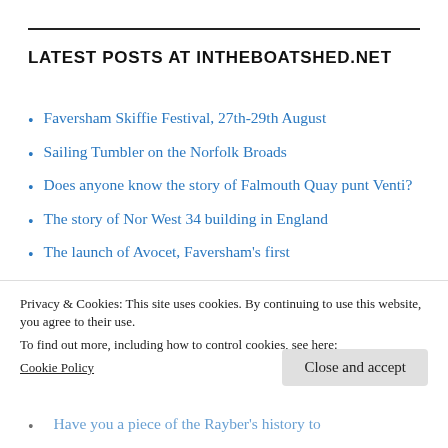LATEST POSTS AT INTHEBOATSHED.NET
Faversham Skiffie Festival, 27th-29th August
Sailing Tumbler on the Norfolk Broads
Does anyone know the story of Falmouth Quay punt Venti?
The story of Nor West 34 building in England
The launch of Avocet, Faversham's first
Privacy & Cookies: This site uses cookies. By continuing to use this website, you agree to their use.
To find out more, including how to control cookies, see here:
Cookie Policy
Have you a piece of the Rayber's history to